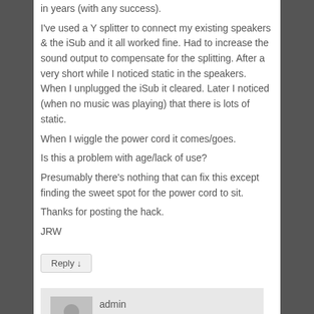in years (with any success). I've used a Y splitter to connect my existing speakers & the iSub and it all worked fine. Had to increase the sound output to compensate for the splitting. After a very short while I noticed static in the speakers. When I unplugged the iSub it cleared. Later I noticed (when no music was playing) that there is lots of static. When I wiggle the power cord it comes/goes. Is this a problem with age/lack of use? Presumably there's nothing that can fix this except finding the sweet spot for the power cord to sit. Thanks for posting the hack. JRW
Reply ↓
admin on September 1, 2013 at 8:20 am said: